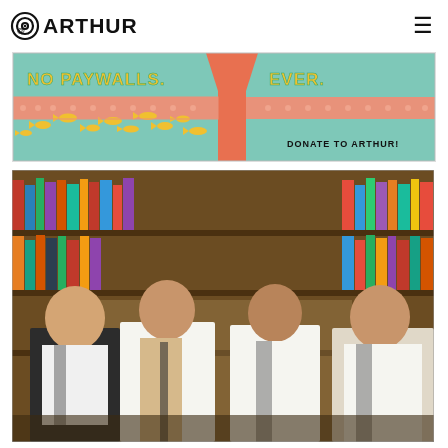@ARTHUR
[Figure (illustration): Cartoon illustration with teal/green background showing two sections separated by an orange barrier shaped like a dam or wall. Left side has small yellow fish swimming, right side continues the pattern. Text reads 'NO PAYWALLS. EVER.' and 'DONATE TO ARTHUR!' in yellow outlined lettering. Dotted salmon-pink band runs across the middle.]
[Figure (photo): Photograph of four young men standing in a library with bookshelves behind them. They wear white shirts with suspenders and vests, looking upward. The lighting is warm and the books are colorful.]